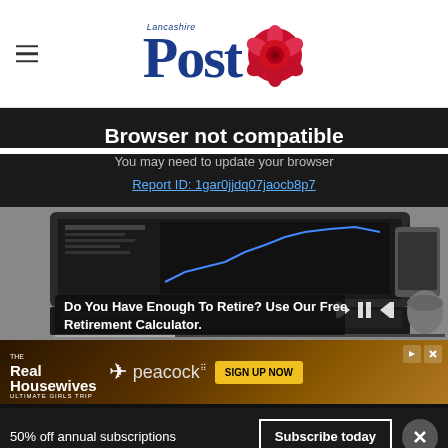Lancashire Post
Browser not compatible
You may need to update your browser
Report ID: 1gar0jjdq07jaocb8p7
[Figure (photo): Black and white photo of a laptop showing financial charts, with media player controls overlay and text: Do You Have Enough To Retire? Use Our Free Retirement Calculator.]
[Figure (infographic): Advertisement for The Real Housewives Ultimate Girls Trip on Peacock. Sign Up Now button.]
50% off annual subscriptions
Subscribe today